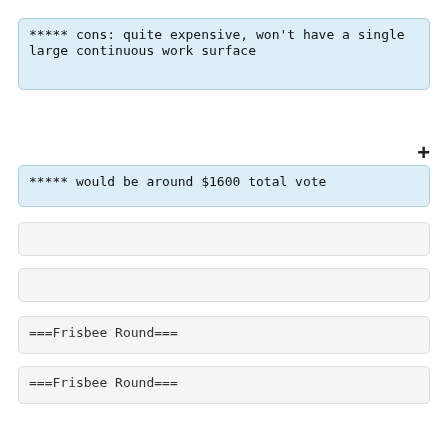***** cons: quite expensive, won't have a single large continuous work surface
***** would be around $1600 total vote
===Frisbee Round===
===Frisbee Round===